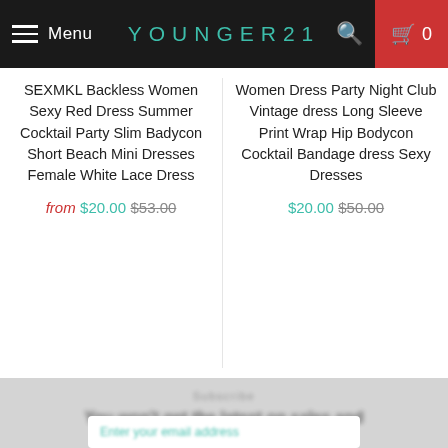Menu  YOUNGER21  0
SEXMKL Backless Women Sexy Red Dress Summer Cocktail Party Slim Badycon Short Beach Mini Dresses Female White Lace Dress
from $20.00 $53.00
Women Dress Party Night Club Vintage dress Long Sleeve Print Wrap Hip Bodycon Cocktail Bandage dress Sexy Dresses
$20.00 $50.00
[Figure (screenshot): Blurred newsletter signup section with input field placeholder text]